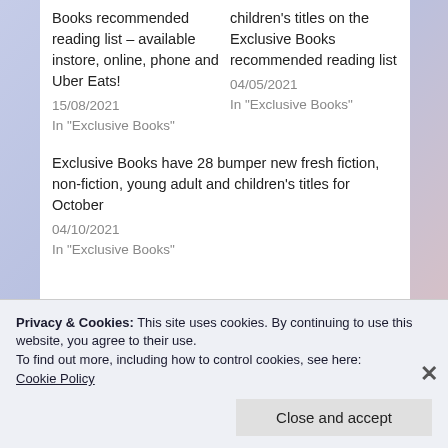Books recommended reading list – available instore, online, phone and Uber Eats!
15/08/2021
In "Exclusive Books"
children's titles on the Exclusive Books recommended reading list
04/05/2021
In "Exclusive Books"
Exclusive Books have 28 bumper new fresh fiction, non-fiction, young adult and children's titles for October
04/10/2021
In "Exclusive Books"
Privacy & Cookies: This site uses cookies. By continuing to use this website, you agree to their use.
To find out more, including how to control cookies, see here: Cookie Policy
Close and accept